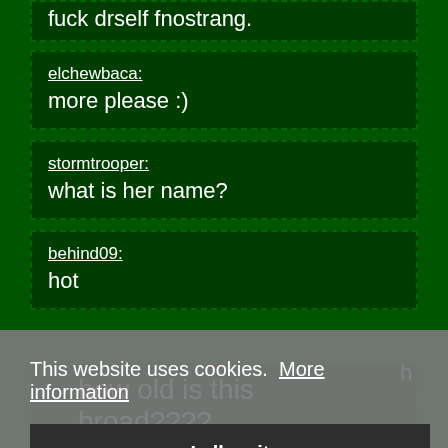fuck drself fnostrang.
elchewbaca: more please :)
stormtrooper: what is her name?
behind09: hot
This website uses cookies. More information
I allow it
h
how old is this broad????